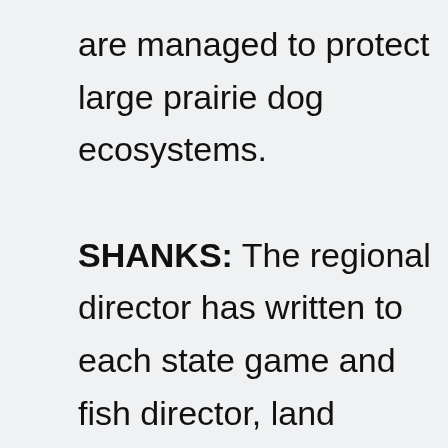are managed to protect large prairie dog ecosystems. SHANKS: The regional director has written to each state game and fish director, land management agencies, the BLM, the Forest Service, encouraging them to, hey, get serious about this critter, this